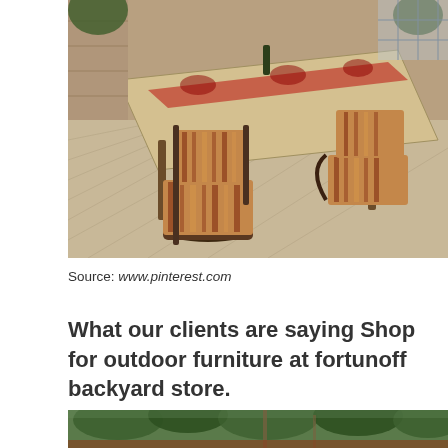[Figure (photo): Outdoor patio dining set with wrought iron chairs with striped cushions and a rectangular stone/marble table set for dining, on a paved patio]
Source: www.pinterest.com
What our clients are saying Shop for outdoor furniture at fortunoff backyard store.
[Figure (photo): Outdoor garden or backyard scene with tall trees and lush green foliage, partial view of outdoor furniture or structure at bottom]